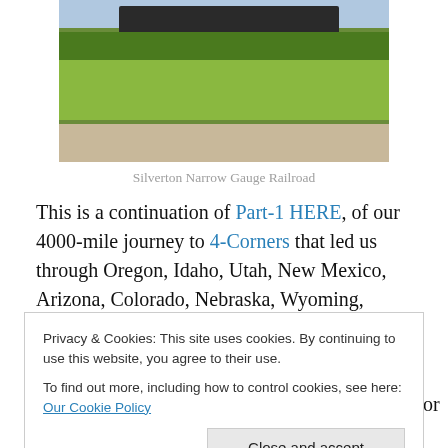[Figure (photo): A narrow gauge railroad train visible behind dense green grass and vegetation, with a gravel path in the foreground.]
Silverton Narrow Gauge Railroad
This is a continuation of Part-1 HERE, of our 4000-mile journey to 4-Corners that led us through Oregon, Idaho, Utah, New Mexico, Arizona, Colorado, Nebraska, Wyoming, South Dakota/Sturgis, Montana, Northern Idaho, Washington and then back to Oregon.
Privacy & Cookies: This site uses cookies. By continuing to use this website, you agree to their use.
To find out more, including how to control cookies, see here: Our Cookie Policy
Close and accept
alive and they were circling patiently overhead for a couple